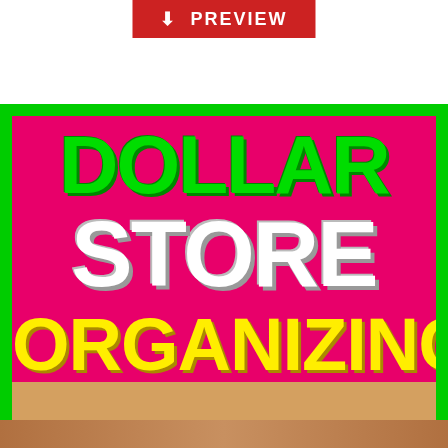⬇ PREVIEW
[Figure (illustration): Dollar Store Organizing book cover with green background, pink/magenta center panel. Large text: DOLLAR in green, STORE in white, ORGANIZING in yellow. Below are two thumbnail panels: 'Organizing Idea #5 organize under the bathroom sink' and 'Organizing Idea #7 under bathroom sink'.]
This website uses cookies to ensure you get the best experience on our website. Learn more
[Figure (photo): Bottom strip showing partial photos of organized bathroom/kitchen items]